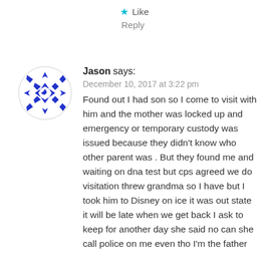★ Like
Reply
[Figure (illustration): Round avatar icon with blue geometric snowflake/star quilt pattern on white background]
Jason says:
December 10, 2017 at 3:22 pm
Found out I had son so I come to visit with him and the mother was locked up and emergency or temporary custody was issued because they didn't know who other parent was . But they found me and waiting on dna test but cps agreed we do visitation threw grandma so I have but I took him to Disney on ice it was out state it will be late when we get back I ask to keep for another day she said no can she call police on me even tho I'm the father